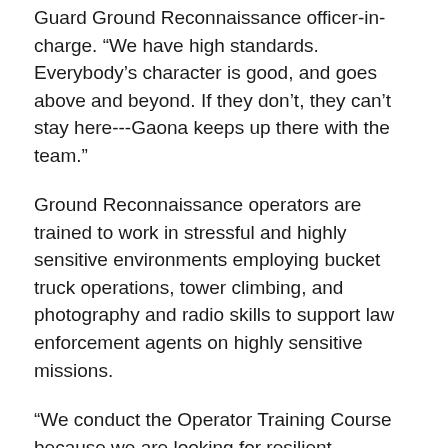Guard Ground Reconnaissance officer-in-charge. “We have high standards. Everybody’s character is good, and goes above and beyond. If they don’t, they can’t stay here---Gaona keeps up there with the team.”
Ground Reconnaissance operators are trained to work in stressful and highly sensitive environments employing bucket truck operations, tower climbing, and photography and radio skills to support law enforcement agents on highly sensitive missions.
“We conduct the Operator Training Course because we are looking for resilient professional Soldiers and Airmen who can be trusted in autonomous situations and have the conditioning and trust to make necessary decisions,” said Cowart.